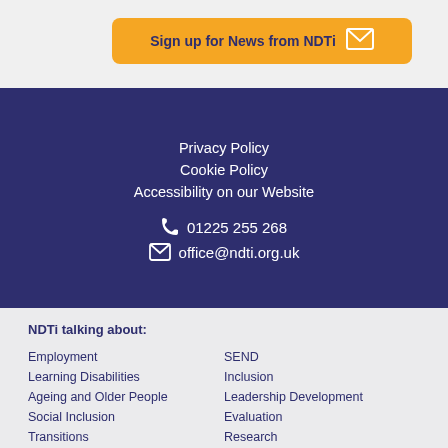Sign up for News from NDTi
Privacy Policy
Cookie Policy
Accessibility on our Website
01225 255 268
office@ndti.org.uk
NDTi talking about:
Employment
SEND
Learning Disabilities
Inclusion
Ageing and Older People
Leadership Development
Social Inclusion
Evaluation
Transitions
Research
Housing
Coproduction